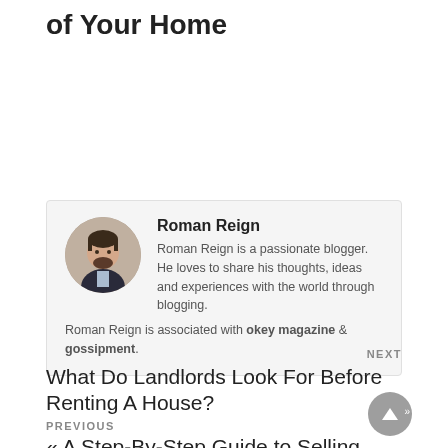of Your Home
Roman Reign
Roman Reign is a passionate blogger. He loves to share his thoughts, ideas and experiences with the world through blogging. Roman Reign is associated with okey magazine & gossipment.
NEXT
What Do Landlords Look For Before Renting A House?
PREVIOUS
« A Step-By-Step Guide to Selling Your House for the